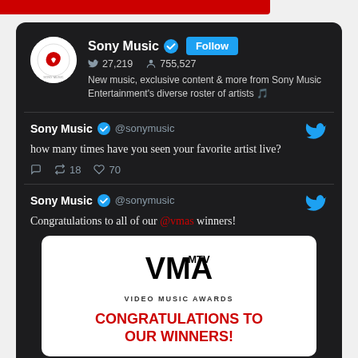[Figure (screenshot): Sony Music Twitter profile card on dark background showing profile photo, name, verified badge, follow button, tweet count 27,219, follower count 755,527, and bio text]
Sony Music @sonymusic — how many times have you seen your favorite artist live? 18 retweets, 70 likes
Sony Music @sonymusic — Congratulations to all of our @vmas winners!
[Figure (logo): MTV Video Music Awards VMA logo with text CONGRATULATIONS TO OUR WINNERS!]